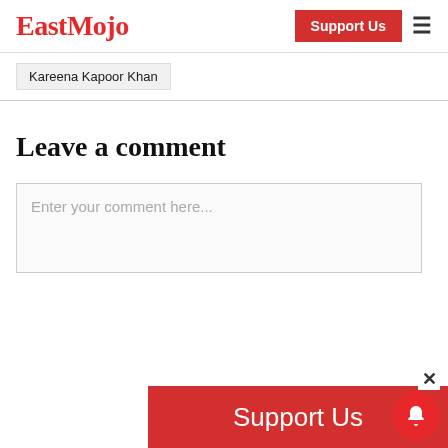EastMojo | Support Us
Kareena Kapoor Khan
Leave a comment
Enter your comment here...
Support Us